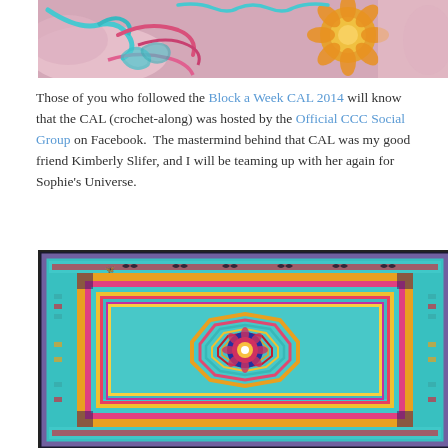[Figure (photo): Close-up photo of crochet work in progress showing colorful yarn in pink, teal, and yellow/orange with a crochet hook visible]
Those of you who followed the Block a Week CAL 2014 will know that the CAL (crochet-along) was hosted by the Official CCC Social Group on Facebook.  The mastermind behind that CAL was my good friend Kimberly Slifer, and I will be teaming up with her again for Sophie's Universe.
[Figure (photo): Completed Sophie's Universe crochet blanket shown from above, featuring a large mandala-style pattern with concentric geometric shapes in vibrant teal, pink, yellow, purple, and multicolor yarns with decorative borders]